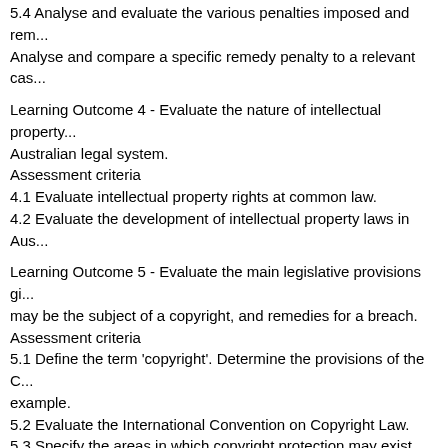5.4 Analyse and evaluate the various penalties imposed and rem... Analyse and compare a specific remedy penalty to a relevant cas...
Learning Outcome 4 - Evaluate the nature of intellectual property... Australian legal system.
Assessment criteria
4.1 Evaluate intellectual property rights at common law.
4.2 Evaluate the development of intellectual property laws in Aus...
Learning Outcome 5 - Evaluate the main legislative provisions gi... may be the subject of a copyright, and remedies for a breach.
Assessment criteria
5.1 Define the term 'copyright'. Determine the provisions of the C... example.
5.2 Evaluate the International Convention on Copyright Law.
5.3 Specify the areas in which copyright protection may exist, an... between:
Literacy, dramatic, musical and artistic works
Sound recordings, films, broadcasts and published editions
Computer programs
5.4 Evaluate mechanics of obtaining copyright protection by appl... to the meaning of substantial adaptation and proof of ownership...
5.5 Identify works eligible for copyright protection.